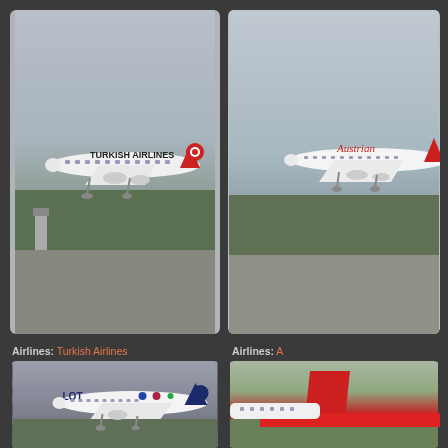[Figure (photo): Turkish Airlines Airbus A321 Neo aircraft on runway, registration TC-LSG, at Zurich Kloten airport]
[Figure (photo): Austrian Airlines aircraft partially visible, similar airport setting]
Airlines: Turkish Airlines
Type: Airbus A321 Neo
Registration: TC-LSG
Location: Zurich Kloten

Photographer: Eddy Cuperus

Date added: Jul 07, 2022
Date taken: May 23, 2022
Airlines: A...
Type: Airb...
Registration: ...
Location: ...

Photographer: ...
[Figure (photo): LOT Polish Airlines Embraer aircraft landing, special livery with blue tail and LOT logo]
[Figure (photo): Red aircraft tail visible, partial view on airport tarmac]